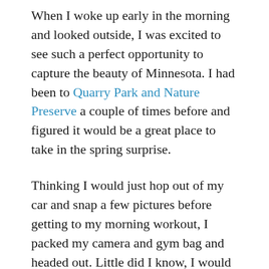When I woke up early in the morning and looked outside, I was excited to see such a perfect opportunity to capture the beauty of Minnesota. I had been to Quarry Park and Nature Preserve a couple of times before and figured it would be a great place to take in the spring surprise.
Thinking I would just hop out of my car and snap a few pictures before getting to my morning workout, I packed my camera and gym bag and headed out. Little did I know, I would spend the next hour and a half exploring the trails and capturing images of white trees reflected off still water, rocks